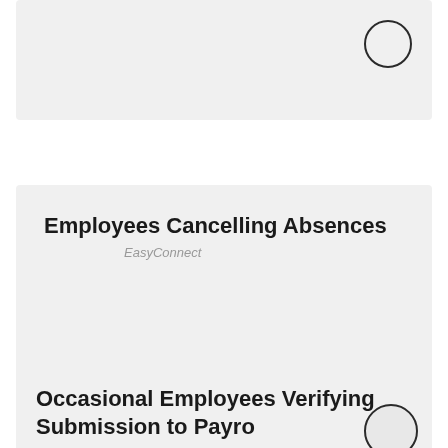[Figure (screenshot): Partially visible card with a circle icon in top-right corner, grey background]
Employees Cancelling Absences
EasyConnect
Occasional Employees Verifying Submission to Payro
EasyConnect